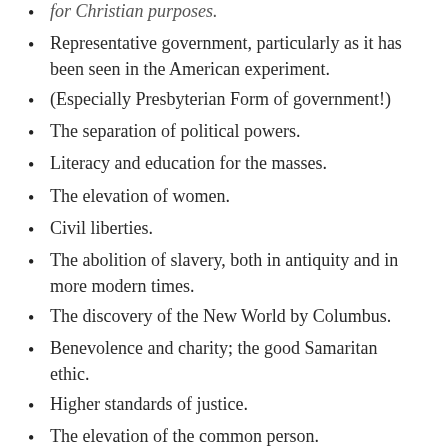for Christian purposes.
Representative government, particularly as it has been seen in the American experiment.
(Especially Presbyterian Form of government!)
The separation of political powers.
Literacy and education for the masses.
The elevation of women.
Civil liberties.
The abolition of slavery, both in antiquity and in more modern times.
The discovery of the New World by Columbus.
Benevolence and charity; the good Samaritan ethic.
Higher standards of justice.
The elevation of the common person.
High regard for human life (love for the unborn, sick and elderly).
The codifying and setting to writing of